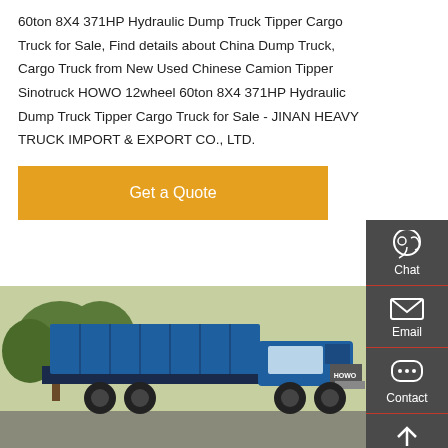60ton 8X4 371HP Hydraulic Dump Truck Tipper Cargo Truck for Sale, Find details about China Dump Truck, Cargo Truck from New Used Chinese Camion Tipper Sinotruck HOWO 12wheel 60ton 8X4 371HP Hydraulic Dump Truck Tipper Cargo Truck for Sale - JINAN HEAVY TRUCK IMPORT & EXPORT CO., LTD.
[Figure (other): Orange/yellow 'Get a Quote' button]
[Figure (photo): Photo of a blue HOWO dump truck (tipper) parked outdoors with trees in background. A red truck is partially visible on the right side.]
[Figure (infographic): Right-side floating sidebar with dark gray background showing: Chat icon (headset), Email icon (envelope), Contact icon (speech bubble with dots), Top icon (arrow up) — each separated by red lines.]